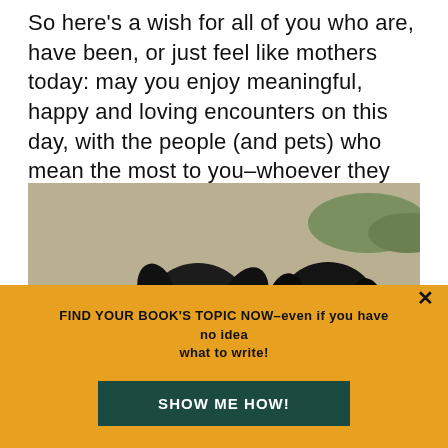So here's a wish for all of you who are, have been, or just feel like mothers today: may you enjoy meaningful, happy and loving encounters on this day, with the people (and pets) who mean the most to you–whoever they are.
[Figure (photo): Two black dogs sitting side by side outdoors on a concrete surface with greenery in the background. The left dog appears to be a German Shepherd mix with tan markings, and the right dog is a black Labrador.]
FIND YOUR BOOK'S TOPIC NOW–even if you have no idea what to write!
SHOW ME HOW!